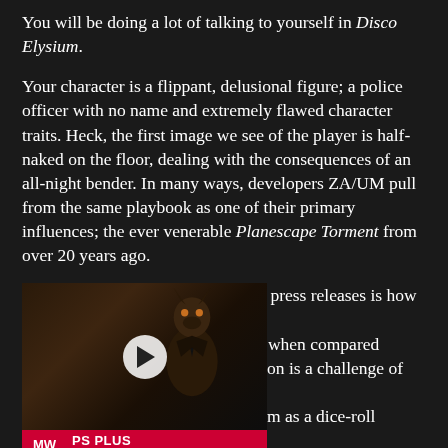You will be doing a lot of talking to yourself in Disco Elysium.
Your character is a flippant, delusional figure; a police officer with no name and extremely flawed character traits. Heck, the first image we see of the player is half-naked on the floor, dealing with the consequences of an all-night bender. In many ways, developers ZA/UM pull from the same playbook as one of their primary influences; the ever venerable Planescape Torment from over 20 years ago.
One thing touted by ZA/UM in the press releases is how much more dialogue is in Disco Elysium when compared ... on is a challenge of your skills; m as a dice-roll challenge, others In-game dialogue describes the s detail. Players have access to four different stats, with 24 skills that range from standards such as perception to more unique stats such as inland empire, electrochemistry, and savoir-faire.
[Figure (screenshot): Video thumbnail for PS Plus September 2022 showing an anthropomorphic dog/rabbit figure in a suit, with MightyWarriors (MW) logo in red, play button overlay, and 'PS PLUS SEPTEMBER 2022' text at the bottom.]